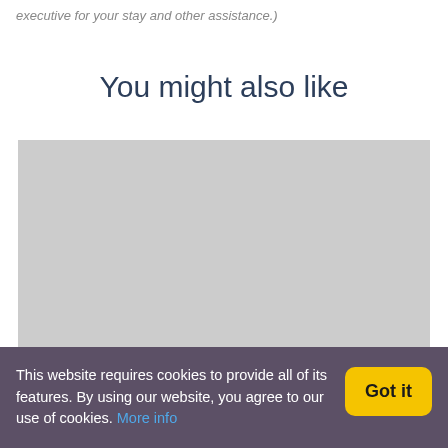executive for your stay and other assistance.)
You might also like
[Figure (photo): Grey placeholder image block for recommended content]
This website requires cookies to provide all of its features. By using our website, you agree to our use of cookies. More info